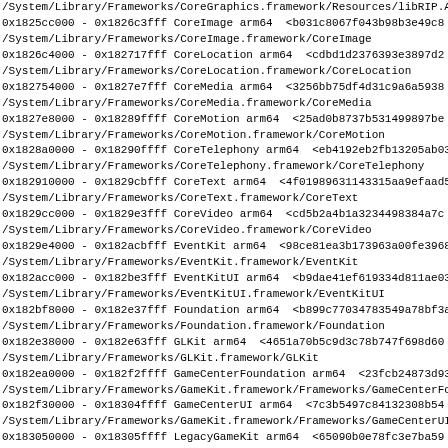/System/Library/Frameworks/CoreGraphics.framework/Resources/libRIP.A.dyl
0x1825cc000 - 0x1826c3fff CoreImage arm64  &lt;b031c8067f043b98b3e49c8
/System/Library/Frameworks/CoreImage.framework/CoreImage
0x1826c4000 - 0x182717fff CoreLocation arm64  &lt;cdbd1d2376393e3897d2
/System/Library/Frameworks/CoreLocation.framework/CoreLocation
0x182754000 - 0x1827e7fff CoreMedia arm64  &lt;3256bb75df4d31c9a6a5938
/System/Library/Frameworks/CoreMedia.framework/CoreMedia
0x1827e8000 - 0x18289ffff CoreMotion arm64  &lt;25ad0b8737b531499897be
/System/Library/Frameworks/CoreMotion.framework/CoreMotion
0x1828a0000 - 0x18290ffff CoreTelephony arm64  &lt;eb4192eb2fb13205ab03
/System/Library/Frameworks/CoreTelephony.framework/CoreTelephony
0x182910000 - 0x1829cbfff CoreText arm64  &lt;4f01989631143315aa9efaad5
/System/Library/Frameworks/CoreText.framework/CoreText
0x1829cc000 - 0x1829e3fff CoreVideo arm64  &lt;cd5b2a4b1a3234498384a7c
/System/Library/Frameworks/CoreVideo.framework/CoreVideo
0x1829e4000 - 0x182acbfff EventKit arm64  &lt;98ce81ea3b173963a00fe3968
/System/Library/Frameworks/EventKit.framework/EventKit
0x182acc000 - 0x182be3fff EventKitUI arm64  &lt;b9dae41ef619334d811ae03
/System/Library/Frameworks/EventKitUI.framework/EventKitUI
0x182bf8000 - 0x182e37fff Foundation arm64  &lt;b899c77034783549a78bf3a
/System/Library/Frameworks/Foundation.framework/Foundation
0x182e38000 - 0x182e63fff GLKit arm64  &lt;4651a70b5c9d3c78b747f698d60
/System/Library/Frameworks/GLKit.framework/GLKit
0x182ea0000 - 0x182f2ffff GameCenterFoundation arm64  &lt;23fcb24873d93
/System/Library/Frameworks/GameKit.framework/Frameworks/GameCenterFo
0x182f30000 - 0x18304ffff GameCenterUI arm64  &lt;7c3b5497c84132308b54
/System/Library/Frameworks/GameKit.framework/Frameworks/GameCenterUI
0x183050000 - 0x18305ffff LegacyGameKit arm64  &lt;65090b0e78fc3e7ba59